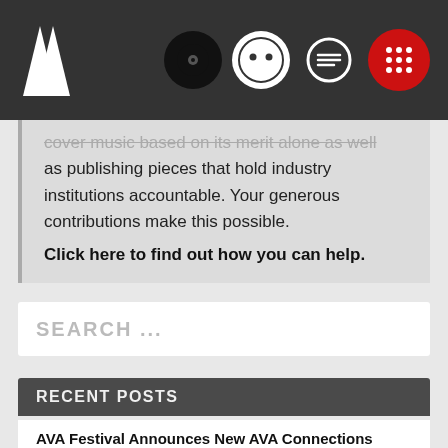[Navigation header with logo and icons: music disc, face icon, chat icon, grid/app icon]
cover music based on its merit alone as well as publishing pieces that hold industry institutions accountable. Your generous contributions make this possible. Click here to find out how you can help.
SEARCH ...
RECENT POSTS
AVA Festival Announces New AVA Connections Events in Glasgow, Belfast, Dublin